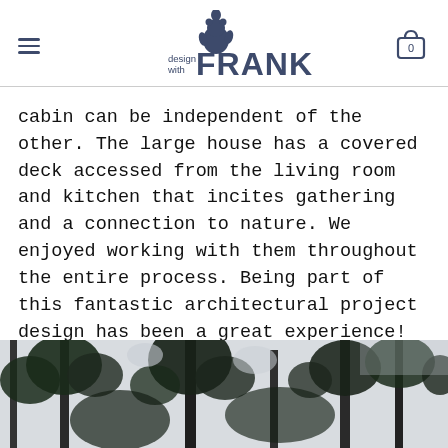design with FRANK
cabin can be independent of the other. The large house has a covered deck accessed from the living room and kitchen that incites gathering and a connection to nature. We enjoyed working with them throughout the entire process. Being part of this fantastic architectural project design has been a great experience!
[Figure (photo): Photograph of tall conifer trees against a light sky, taken from below looking upward, partially cropped at the bottom of the page.]